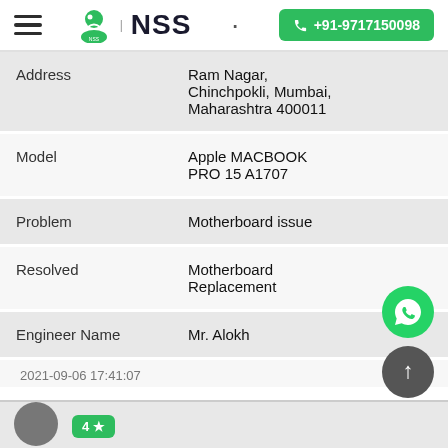NSS | +91-9717150098
| Field | Value |
| --- | --- |
| Address | Ram Nagar, Chinchpokli, Mumbai, Maharashtra 400011 |
| Model | Apple MACBOOK PRO 15 A1707 |
| Problem | Motherboard issue |
| Resolved | Motherboard Replacement |
| Engineer Name | Mr. Alokh |
2021-09-06 17:41:07